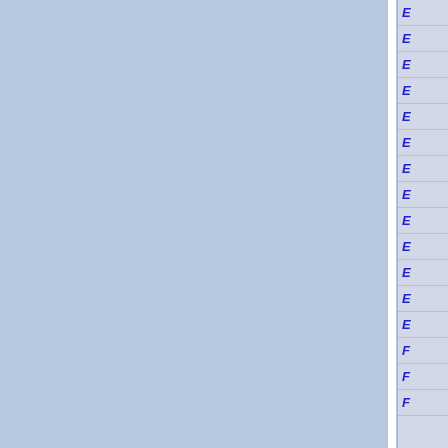[Figure (other): Two large light-blue rectangular panels separated by a narrow white vertical divider, with a right-side index column showing blue italic letter entries (E repeated many times, then F) separated by horizontal lines on a light gray background.]